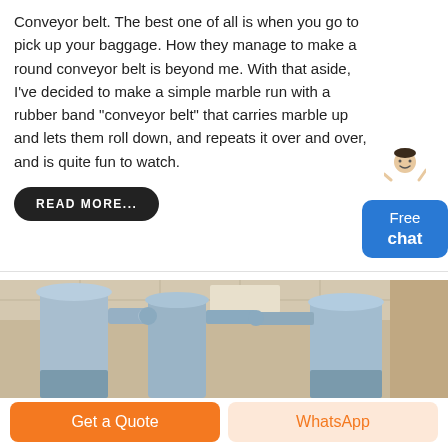Conveyor belt. The best one of all is when you go to pick up your baggage. How they manage to make a round conveyor belt is beyond me. With that aside, I've decided to make a simple marble run with a rubber band "conveyor belt" that carries marble up and lets them roll down, and repeats it over and over, and is quite fun to watch.
[Figure (illustration): Chat widget with person avatar and blue Free chat button]
READ MORE...
[Figure (photo): Industrial conveyor/dust collection equipment with large blue cylindrical columns and piping in a factory setting]
Get a Quote
WhatsApp